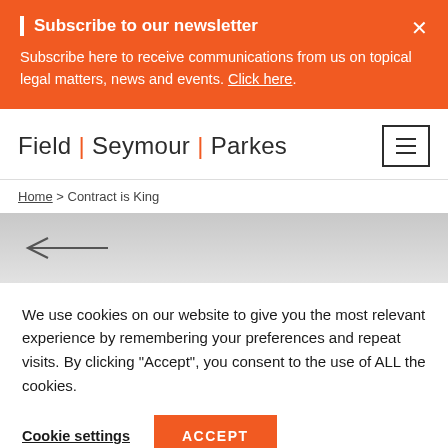Subscribe to our newsletter — Subscribe here to receive communications from us on topical legal matters, news and events. Click here.
Field | Seymour | Parkes
Home > Contract is King
[Figure (other): Gray gradient hero area with a left-pointing back arrow]
We use cookies on our website to give you the most relevant experience by remembering your preferences and repeat visits. By clicking "Accept", you consent to the use of ALL the cookies.
Cookie settings   ACCEPT